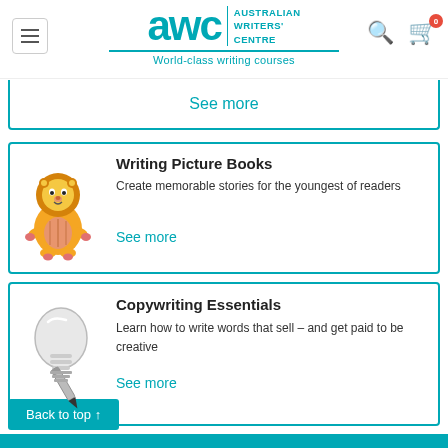[Figure (logo): Australian Writers' Centre logo with AWC in teal, tagline 'World-class writing courses']
See more
[Figure (illustration): Yellow lion stuffed toy/plushie]
Writing Picture Books
Create memorable stories for the youngest of readers
See more
[Figure (illustration): Light bulb with a pen/pencil graphic]
Copywriting Essentials
Learn how to write words that sell – and get paid to be creative
See more
Back to top ↑